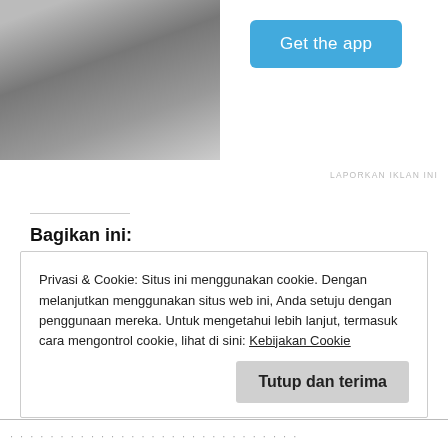[Figure (photo): Person sitting outdoors, cropped photo on left side]
Get the app
LAPORKAN IKLAN INI
Bagikan ini:
[Figure (infographic): Social share icons: Twitter (blue), Facebook (blue), WhatsApp (green), Email (grey)]
Memuat...
Privasi & Cookie: Situs ini menggunakan cookie. Dengan melanjutkan menggunakan situs web ini, Anda setuju dengan penggunaan mereka. Untuk mengetahui lebih lanjut, termasuk cara mengontrol cookie, lihat di sini: Kebijakan Cookie
Tutup dan terima